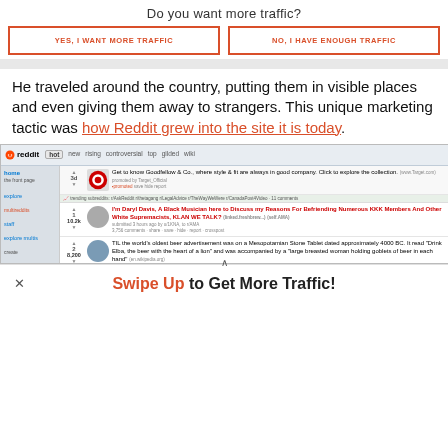Do you want more traffic?
YES, I WANT MORE TRAFFIC
NO, I HAVE ENOUGH TRAFFIC
He traveled around the country, putting them in visible places and even giving them away to strangers. This unique marketing tactic was how Reddit grew into the site it is today.
[Figure (screenshot): Screenshot of the Reddit website homepage showing promoted posts including a Target advertisement and user posts about Daryl Davis and a Mesopotamian stone tablet beer advertisement.]
Swipe Up to Get More Traffic!